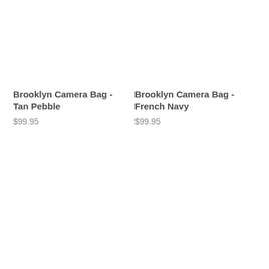Brooklyn Camera Bag - Tan Pebble
$99.95
Brooklyn Camera Bag - French Navy
$99.95